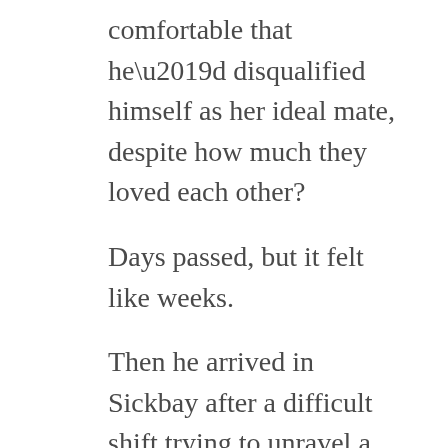comfortable that he'd disqualified himself as her ideal mate, despite how much they loved each other?
Days passed, but it felt like weeks.
Then he arrived in Sickbay after a difficult shift trying to unravel a pernicious subroutine and found Ellie sitting in a chair, dressed in a loose tunic and tights.
“I’m cleared for light duty starting tomorrow. Take me home?” She gave him a look best suited for over the top of a fan.
Suddenly, Doc Sorcha appeared. Todd almost yelped in surprise. “‘Light duty’ applies to recreational pursuits as well,” she reminded them in a scolding